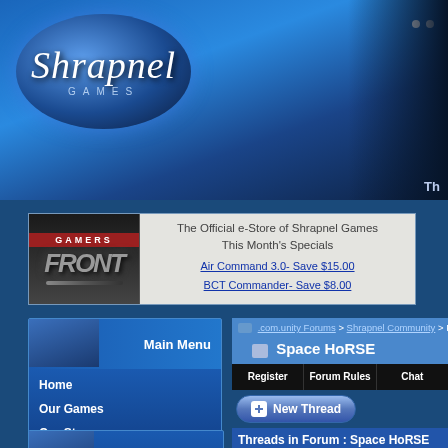[Figure (logo): Shrapnel Games logo on blue oval background with dark blue gradient header and silhouette figures]
[Figure (logo): Gamers Front logo - red top bar with GAMERS text, silver FRONT text on dark background]
The Official e-Store of Shrapnel Games
This Month's Specials
Air Command 3.0- Save $15.00
BCT Commander- Save $8.00
Main Menu
Home
Our Games
Our Store
News
Customer Support
Latest News
We've Got Your Six! The 2022 winSPWW2 and winSPMBT Upgrade Patches are In!
.com.unity Forums > Shrapnel Community > Press R
Space HoRSE
| Thread / Thread Starter |
| --- |
| New Download Option for Space H... Press Release Teaser: Ride The Digital Space Ho... Annette |